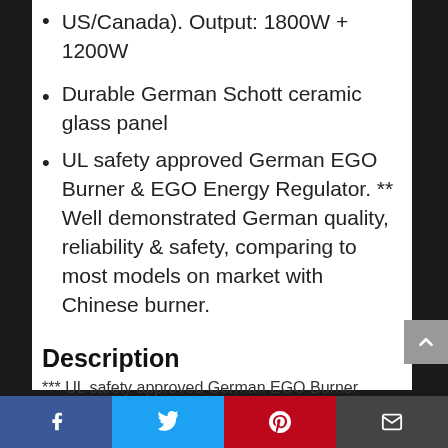US/Canada). Output: 1800W + 1200W
Durable German Schott ceramic glass panel
UL safety approved German EGO Burner & EGO Energy Regulator. ** Well demonstrated German quality, reliability & safety, comparing to most models on market with Chinese burner.
Description
*** UL safety approved German EGO Burner
Facebook | Twitter | Pinterest | Email